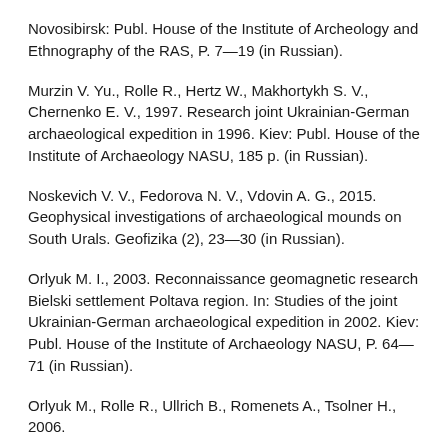Novosibirsk: Publ. House of the Institute of Archeology and Ethnography of the RAS, P. 7—19 (in Russian).
Murzin V. Yu., Rolle R., Hertz W., Makhortykh S. V., Chernenko E. V., 1997. Research joint Ukrainian-German archaeological expedition in 1996. Kiev: Publ. House of the Institute of Archaeology NASU, 185 p. (in Russian).
Noskevich V. V., Fedorova N. V., Vdovin A. G., 2015. Geophysical investigations of archaeological mounds on South Urals. Geofizika (2), 23—30 (in Russian).
Orlyuk M. I., 2003. Reconnaissance geomagnetic research Bielski settlement Poltava region. In: Studies of the joint Ukrainian-German archaeological expedition in 2002. Kiev: Publ. House of the Institute of Archaeology NASU, P. 64—71 (in Russian).
Orlyuk M., Rolle R., Ullrich B., Romenets A., Tsolner H., 2006.